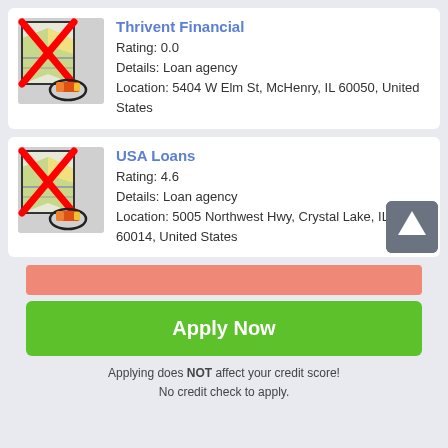[Figure (screenshot): Map icon with red X overlay and compass/direction icon below, for Thrivent Financial listing]
Thrivent Financial
Rating: 0.0
Details: Loan agency
Location: 5404 W Elm St, McHenry, IL 60050, United States
[Figure (screenshot): Map icon with red X overlay and compass/direction icon below, for USA Loans listing]
USA Loans
Rating: 4.6
Details: Loan agency
Location: 5005 Northwest Hwy, Crystal Lake, IL 60014, United States
[Figure (screenshot): Scroll to top button (up arrow on dark grey background)]
Apply Now
Applying does NOT affect your credit score!
No credit check to apply.